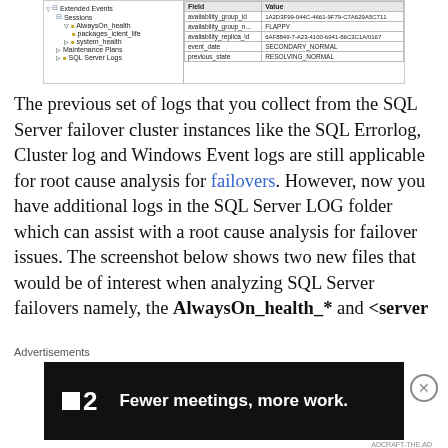[Figure (screenshot): SQL Server Management Studio screenshot showing a tree pane with Extended Events, Sessions, AlwaysOn_health, packages_icient_life, system_health nodes, and a data pane with fields: availability_group_id, availability_group_n, availability_replica_id, event_date, previous_state and their corresponding values including GUIDs, FLAPPY, and SECONDARY_NORMAL, RESOLVING_NORMAL]
The previous set of logs that you collect from the SQL Server failover cluster instances like the SQL Errorlog, Cluster log and Windows Event logs are still applicable for root cause analysis for failovers. However, now you have additional logs in the SQL Server LOG folder which can assist with a root cause analysis for failover issues. The screenshot below shows two new files that would be of interest when analyzing SQL Server failovers namely, the AlwaysOn_health_* and <server
Advertisements
[Figure (screenshot): Advertisement banner with dark background showing a logo with two white squares and the number 2, with text 'Fewer meetings, more work.']